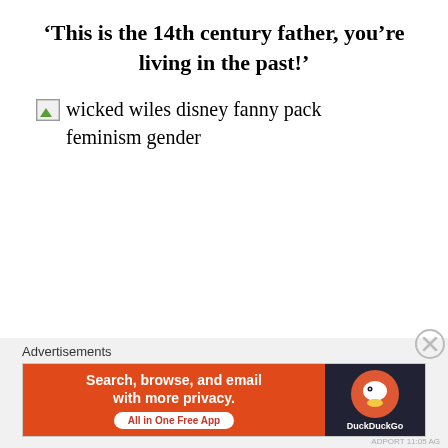'This is the 14th century father, you’re living in the past!'
[Figure (illustration): Broken image placeholder with alt text: wicked wiles disney fanny pack feminism gender]
Advertisements
[Figure (screenshot): DuckDuckGo advertisement banner: 'Search, browse, and email with more privacy. All in One Free App' with DuckDuckGo logo on dark background]